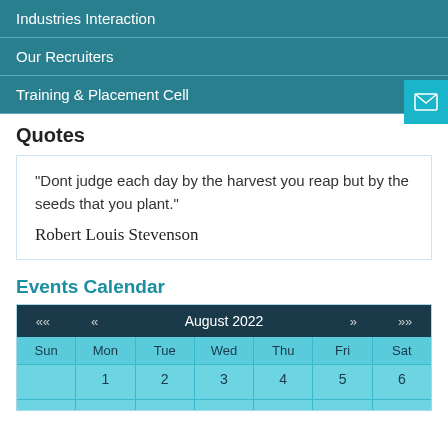Industries Interaction
Our Recruiters
Training & Placement Cell
Quotes
"Dont judge each day by the harvest you reap but by the seeds that you plant."

Robert Louis Stevenson
Events Calendar
| «« | « | August 2022 | » | »» |
| --- | --- | --- | --- | --- |
| Sun | Mon | Tue | Wed | Thu | Fri | Sat |
|  | 1 | 2 | 3 | 4 | 5 | 6 |